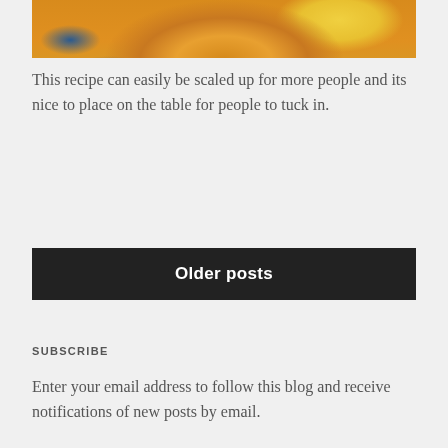[Figure (photo): Close-up photo of a cooked pizza or egg dish in a pan on a blue surface, showing melted cheese, herbs, and colorful toppings]
This recipe can easily be scaled up for more people and its nice to place on the table for people to tuck in.
Older posts
SUBSCRIBE
Enter your email address to follow this blog and receive notifications of new posts by email.